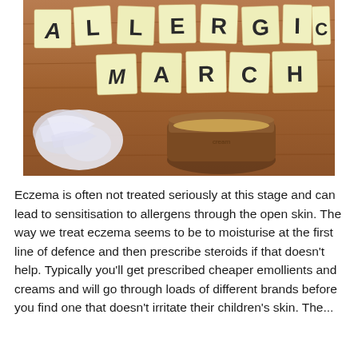[Figure (photo): Photo of post-it note squares on a wooden surface spelling out 'ALLERGIC MARCH' in hand-drawn block letters. A crumpled white tissue and an open jar of cream/ointment are visible in the lower portion of the image.]
Eczema is often not treated seriously at this stage and can lead to sensitisation to allergens through the open skin. The way we treat eczema seems to be to moisturise at the first line of defence and then prescribe steroids if that doesn't help. Typically you'll get prescribed cheaper emollients and creams and will go through loads of different brands before you find one that doesn't irritate their children's skin. The...